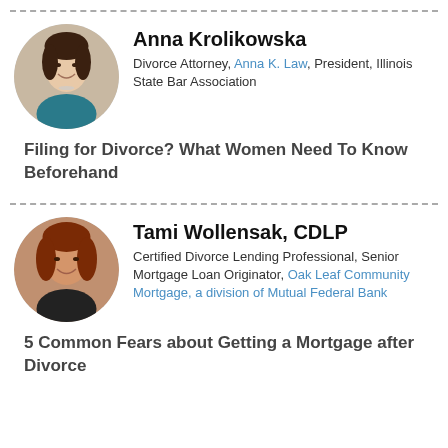[Figure (photo): Headshot of Anna Krolikowska, a woman with dark hair, smiling]
Anna Krolikowska
Divorce Attorney, Anna K. Law, President, Illinois State Bar Association
Filing for Divorce? What Women Need To Know Beforehand
[Figure (photo): Headshot of Tami Wollensak, a woman with reddish-brown hair, smiling]
Tami Wollensak, CDLP
Certified Divorce Lending Professional, Senior Mortgage Loan Originator, Oak Leaf Community Mortgage, a division of Mutual Federal Bank
5 Common Fears about Getting a Mortgage after Divorce